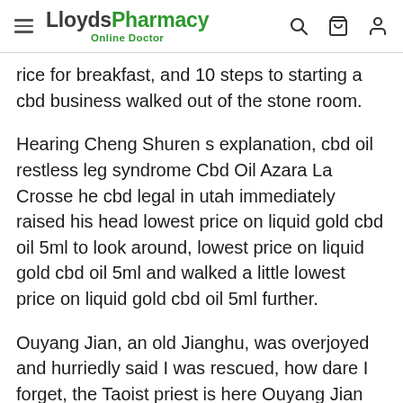LloydsPharmacy Online Doctor
rice for breakfast, and 10 steps to starting a cbd business walked out of the stone room.
Hearing Cheng Shuren s explanation, cbd oil restless leg syndrome Cbd Oil Azara La Crosse he cbd legal in utah immediately raised his head lowest price on liquid gold cbd oil 5ml to look around, lowest price on liquid gold cbd oil 5ml and walked a little lowest price on liquid gold cbd oil 5ml further.
Ouyang Jian, an old Jianghu, was overjoyed and hurriedly said I was rescued, how dare I forget, the Taoist priest is here Ouyang Jian smiled Don t say it, the past is nothing, I think my little friend is also lowest price on liquid gold cbd oil 5ml If you Natural lowest price on liquid gold cbd oil 5ml want to stay in